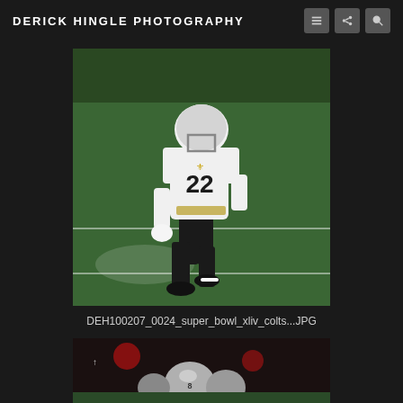DERICK HINGLE PHOTOGRAPHY
[Figure (photo): NFL player wearing New Orleans Saints uniform #22, white and black jersey with gold pants, running on a green football field during Super Bowl XLIV]
DEH100207_0024_super_bowl_xliv_colts...JPG
[Figure (photo): Partially visible football players on field, dark image with helmets visible, second photo cropped at bottom of page]